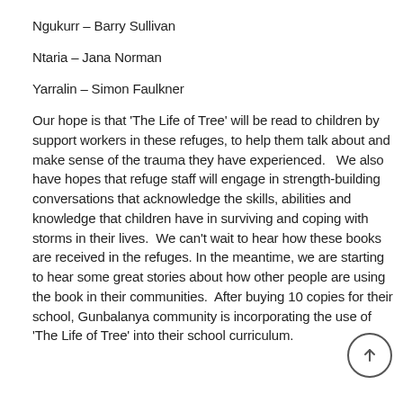Ngukurr – Barry Sullivan
Ntaria – Jana Norman
Yarralin – Simon Faulkner
Our hope is that 'The Life of Tree' will be read to children by support workers in these refuges, to help them talk about and make sense of the trauma they have experienced.   We also have hopes that refuge staff will engage in strength-building conversations that acknowledge the skills, abilities and knowledge that children have in surviving and coping with storms in their lives.  We can't wait to hear how these books are received in the refuges. In the meantime, we are starting to hear some great stories about how other people are using the book in their communities.  After buying 10 copies for their school, Gunbalanya community is incorporating the use of 'The Life of Tree' into their school curriculum.